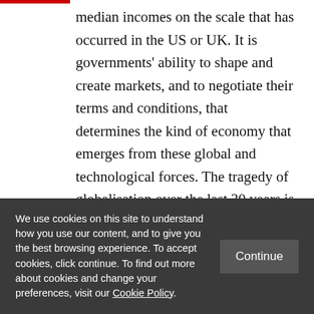median incomes on the scale that has occurred in the US or UK. It is governments' ability to shape and create markets, and to negotiate their terms and conditions, that determines the kind of economy that emerges from these global and technological forces. The tragedy of globalisation over the last 30 years is that it has occurred at the same time as the dominance of an economic orthodoxy that saw the state retreat from
We use cookies on this site to understand how you use our content, and to give you the best browsing experience. To accept cookies, click continue. To find out more about cookies and change your preferences, visit our Cookie Policy.